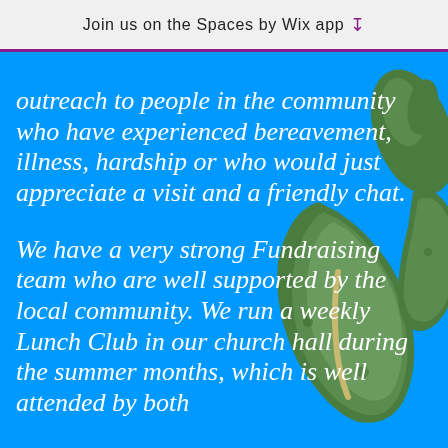Join us on the Spaces by Wix app
outreach to people in the community who have experienced bereavement, illness, hardship or who would just appreciate a visit and a friendly chat.

We have a very strong Fundraising team who are well supported by the local community. We run a weekly Lunch Club in our church hall during the summer months, which is well attended by both
[Figure (map): Aerial/satellite map image showing green islands or landmasses against a blue background, positioned on the right side of the page]